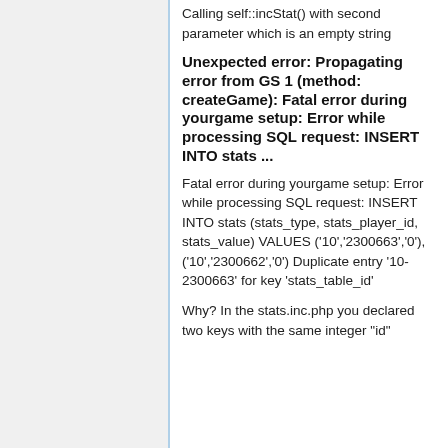Calling self::incStat() with second parameter which is an empty string
Unexpected error: Propagating error from GS 1 (method: createGame): Fatal error during yourgame setup: Error while processing SQL request: INSERT INTO stats ...
Fatal error during yourgame setup: Error while processing SQL request: INSERT INTO stats (stats_type, stats_player_id, stats_value) VALUES ('10','2300663','0'), ('10','2300662','0') Duplicate entry '10-2300663' for key 'stats_table_id'
Why? In the stats.inc.php you declared two keys with the same integer "id"